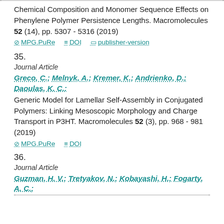Chemical Composition and Monomer Sequence Effects on Phenylene Polymer Persistence Lengths. Macromolecules 52 (14), pp. 5307 - 5316 (2019)
MPG.PuRe   DOI   publisher-version
35.
Journal Article
Greco, C.; Melnyk, A.; Kremer, K.; Andrienko, D.; Daoulas, K. C.: Generic Model for Lamellar Self-Assembly in Conjugated Polymers: Linking Mesoscopic Morphology and Charge Transport in P3HT. Macromolecules 52 (3), pp. 968 - 981 (2019)
MPG.PuRe   DOI
36.
Journal Article
Guzman, H. V.; Tretyakov, N.; Kobayashi, H.; Fogarty, A. C.;